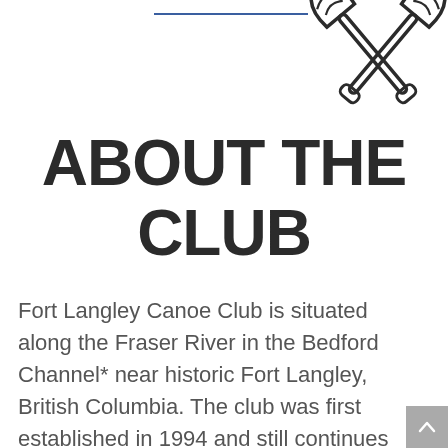[Figure (illustration): Two crossed canoe paddles icon in outline style, centered at top of page, with two horizontal blue lines flanking it on left and right]
ABOUT THE CLUB
Fort Langley Canoe Club is situated along the Fraser River in the Bedford Channel* near historic Fort Langley, British Columbia. The club was first established in 1994 and still continues to welcome hundreds of recreational paddlers and enthusiastic water sport